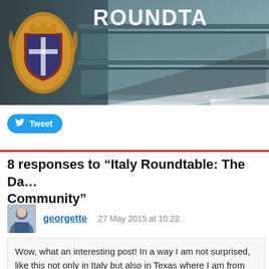[Figure (photo): A decorative header image showing what appears to be an ornate table or gaming surface with a heraldic crest/coat of arms visible on the left side, in teal/grey tones. The word 'ROUNDTA' (truncated) appears in large white bold text at the top right.]
Tweet
8 responses to “Italy Roundtable: The Da… Community”
georgette   27 May 2015 at 10:22
Wow, what an interesting post! In a way I am not surprised, like this not only in Italy but also in Texas where I am from a… States. There is a culture of fear because of what we hear o… what astounds me is just how blatant she was about this to…